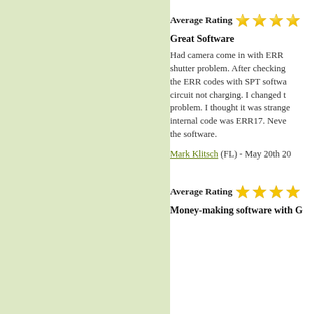[Figure (other): Light green/sage colored left panel background]
Average Rating ★★★★
Great Software
Had camera come in with ERR shutter problem. After checking the ERR codes with SPT software circuit not charging. I changed t problem. I thought it was strange internal code was ERR17. Never the software.
Mark Klitsch (FL) - May 20th 20
Average Rating ★★★★
Money-making software with G